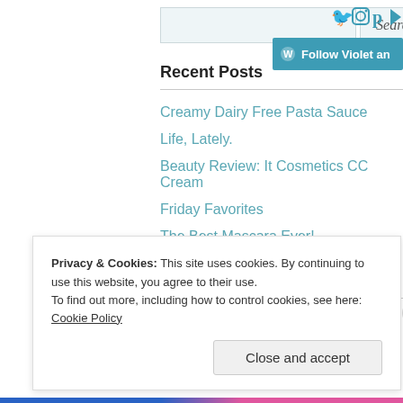[Figure (screenshot): Search input box with a teal/light blue background and a Search button in italic text]
[Figure (screenshot): Social media icons (Twitter, Instagram, Pinterest, another) in teal color at top right]
[Figure (screenshot): Follow Violet and... button in teal/blue with WordPress logo at top right]
Recent Posts
Creamy Dairy Free Pasta Sauce
Life, Lately.
Beauty Review: It Cosmetics CC Cream
Friday Favorites
The Best Mascara Ever!
Categories
Privacy & Cookies: This site uses cookies. By continuing to use this website, you agree to their use.
To find out more, including how to control cookies, see here: Cookie Policy
Close and accept